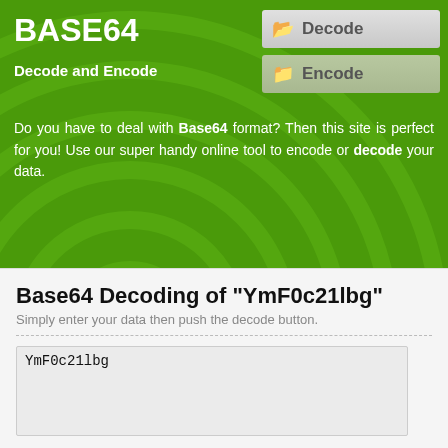BASE64
Decode and Encode
[Figure (screenshot): Decode navigation button with folder icon]
[Figure (screenshot): Encode navigation button with folder icon]
Do you have to deal with Base64 format? Then this site is perfect for you! Use our super handy online tool to encode or decode your data.
Base64 Decoding of "YmF0c21lbg"
Simply enter your data then push the decode button.
YmF0c21lbg